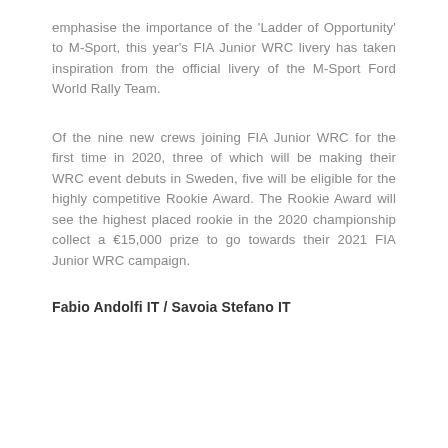emphasise the importance of the 'Ladder of Opportunity' to M-Sport, this year's FIA Junior WRC livery has taken inspiration from the official livery of the M-Sport Ford World Rally Team.
Of the nine new crews joining FIA Junior WRC for the first time in 2020, three of which will be making their WRC event debuts in Sweden, five will be eligible for the highly competitive Rookie Award. The Rookie Award will see the highest placed rookie in the 2020 championship collect a €15,000 prize to go towards their 2021 FIA Junior WRC campaign.
Fabio Andolfi IT / Savoia Stefano IT